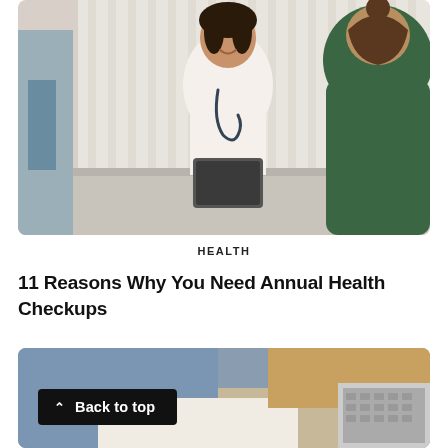[Figure (photo): A smiling female doctor in a white coat with a stethoscope sits across a desk from a male patient in a green shirt, inside a bright office with vertical blinds in the background. The doctor is holding a clipboard/tablet.]
HEALTH
11 Reasons Why You Need Annual Health Checkups
[Figure (photo): Close-up of a person's hands — one holding a yellow pen and writing, the other with a wristwatch band — with a laptop keyboard visible in the background. The person is wearing a light blue shirt.]